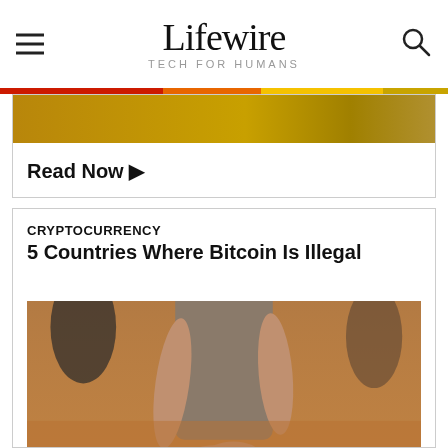Lifewire TECH FOR HUMANS
[Figure (photo): Partial banner image with golden/amber gradient, cropped at top]
Read Now ▶
CRYPTOCURRENCY
5 Countries Where Bitcoin Is Illegal
[Figure (photo): Photo of a person with hands handcuffed behind their back, warm-toned blurred background]